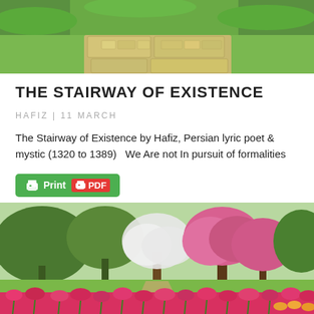[Figure (photo): Top photo showing stone pathway steps with green grass surroundings, aerial/top-down view]
THE STAIRWAY OF EXISTENCE
HAFIZ | 11 MARCH
The Stairway of Existence by Hafiz, Persian lyric poet & mystic (1320 to 1389)   We Are not In pursuit of formalities
[Figure (screenshot): Print and PDF button in green]
[Figure (photo): Garden photo showing colorful spring tulips in foreground (pink/red), cherry blossom trees and green trees in background]
[Figure (infographic): Social media share bar at bottom with Facebook (blue), Twitter (light blue), WhatsApp (green), and Share (orange) buttons]